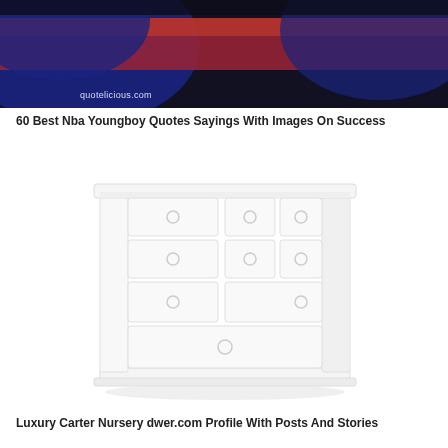[Figure (photo): Dark background image with red and navy blue curved shapes, likely clothing or jersey, with 'quotelicious.com' watermark text in white]
60 Best Nba Youngboy Quotes Sayings With Images On Success
[Figure (photo): White painted wooden dresser/chest of drawers with multiple drawers and circular ring pulls, shown on white background]
Luxury Carter Nursery dwer.com Profile With Posts And Stories